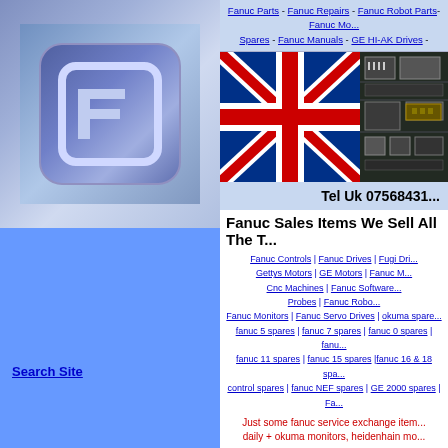[Figure (logo): Fanuc blue square logo with rounded edges on gradient background]
[Figure (photo): Union Jack (UK flag) photo]
[Figure (photo): Circuit board / electronic components close-up photo]
Fanuc Parts - Fanuc Repairs - Fanuc Robot Parts- Fanuc Mo... Spares - Fanuc Manuals - GE HI-AK Drives -
Tel Uk 07568431...
Fanuc Sales Items We Sell All The T...
Fanuc Controls | Fanuc Drives | Fugi Dri... Gettys Motors | GE Motors | Fanuc M... Cnc Machines | Fanuc Software... Probes | Fanuc Robo... Fanuc Monitors | Fanuc Servo Drives | okuma spare... fanuc 5 spares | fanuc 7 spares | fanuc 0 spares | fanu... fanuc 11 spares | fanuc 15 spares |fanuc 16 & 18 spa... control spares | fanuc NEF spares | GE 2000 spares | Fa...
Just some fanuc service exchange item... daily + okuma monitors, heidenhain mo...
APART FROM THE A61L-0001-0074 N... BUT IF YOU WANT NEW OR NONE EXC... SALE HEIDENHAIN MONITORS + M... SCREENS FOR CNC MACHINES WILL D... 2000 MONITOR ALSO INFO...
Search Site